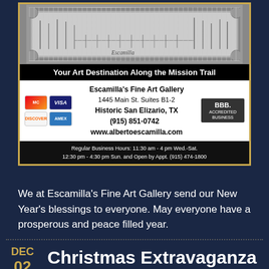[Figure (photo): Advertisement for Escamilla's Fine Art Gallery showing an ornate framed artwork, gallery tagline, address, payment icons, BBB badge, and business hours]
We at Escamilla's Fine Art Gallery send our New Year's blessings to everyone. May everyone have a prosperous and peace filled year.
Christmas Extravaganza
DEC 02 2017